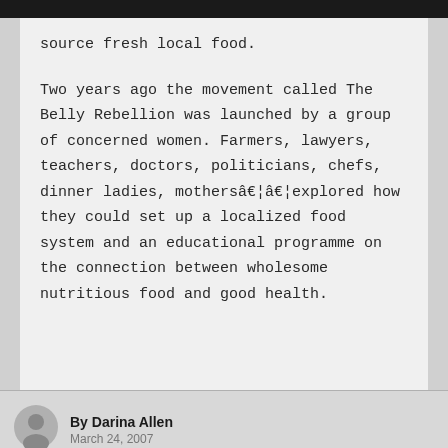source fresh local food.

Two years ago the movement called The Belly Rebellion was launched by a group of concerned women. Farmers, lawyers, teachers, doctors, politicians, chefs, dinner ladies, mothers…​…​explored how they could set up a localized food system and an educational programme on the connection between wholesome nutritious food and good health.
By Darina Allen
March 24, 2007